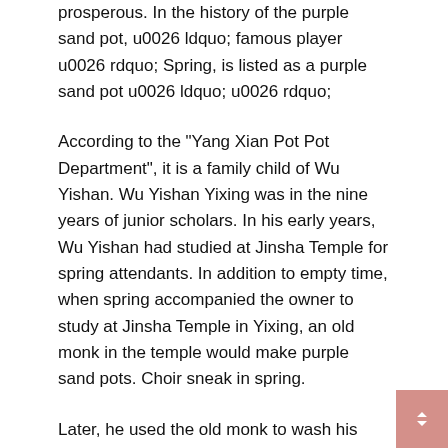prosperous. In the history of the purple sand pot, u0026 ldquo; famous player u0026 rdquo; Spring, is listed as a purple sand pot u0026 ldquo; u0026 rdquo;
According to the "Yang Xian Pot Pot Department", it is a family child of Wu Yishan. Wu Yishan Yixing was in the nine years of junior scholars. In his early years, Wu Yishan had studied at Jinsha Temple for spring attendants. In addition to empty time, when spring accompanied the owner to study at Jinsha Temple in Yixing, an old monk in the temple would make purple sand pots. Choir sneak in spring.
Later, he used the old monk to wash his hands